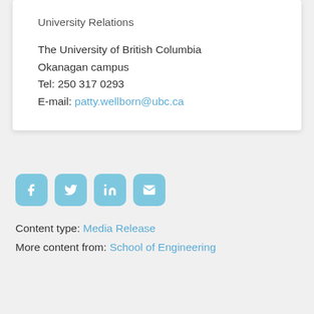University Relations

The University of British Columbia
Okanagan campus
Tel: 250 317 0293
E-mail: patty.wellborn@ubc.ca
[Figure (infographic): Four social media/share icon buttons: Facebook (f), Twitter (bird), LinkedIn (in), Email (envelope), rendered as rounded square light blue buttons with white icons]
Content type: Media Release
More content from: School of Engineering